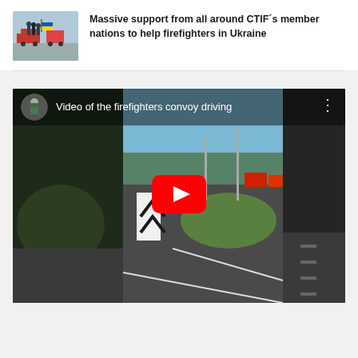[Figure (photo): Thumbnail photo showing firefighters holding a Ukrainian flag next to fire trucks]
Massive support from all around CTIF´s member nations to help firefighters in Ukraine
[Figure (screenshot): YouTube video thumbnail showing firefighters convoy driving through a roundabout. Title reads: Video of the firefighters convoy driving. Red YouTube play button in center.]